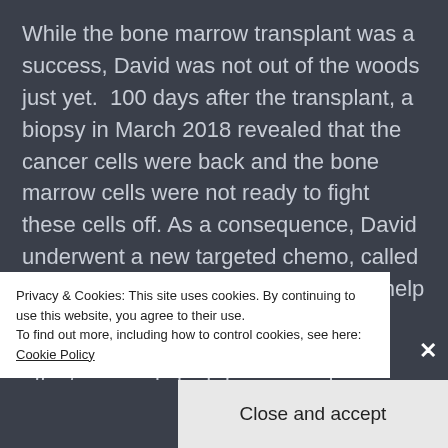While the bone marrow transplant was a success, David was not out of the woods just yet.  100 days after the transplant, a biopsy in March 2018 revealed that the cancer cells were back and the bone marrow cells were not ready to fight these cells off. As a consequence, David underwent a new targeted chemo, called Inotuzamab, which was supposed to help the new cells take on and defeat the cancer cells, but had very nasty side-effects- namely high fever, rapid heartbeat, tiredness, infections, and the decrease in number
Privacy & Cookies: This site uses cookies. By continuing to use this website, you agree to their use.
To find out more, including how to control cookies, see here: Cookie Policy
Close and accept